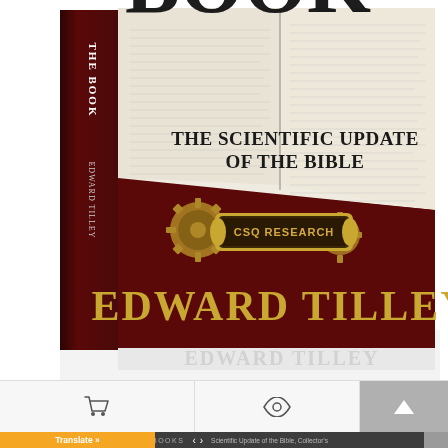[Figure (photo): Book cover of 'The Book: The Scientific Update of the Bible' by Edward Tilley, published by CSQ Research. The cover shows an open Bible with large bold text 'BOOK' at the top, subtitle 'The Scientific Update of the Bible' in the middle, a decorative brass gear-and-plaque emblem reading 'CSQ Research', and the author name 'Edward Tilley' in large gold serif text at the bottom. The lower half of the cover is dark red/maroon. The book is shown as a 3D perspective with visible spine.]
[Figure (screenshot): Website UI toolbar with shopping cart icon on the left section, an eye/preview icon in the center section, and an up-arrow button on the right. Below is a dark navigation bar with 'BOOKS' label, left/right arrows, and partial text 'Scientific Update of the Bible, Collector's...' An orange 'Translate »' button appears at the bottom left, with small book thumbnail icons on both far left and far right corners.]